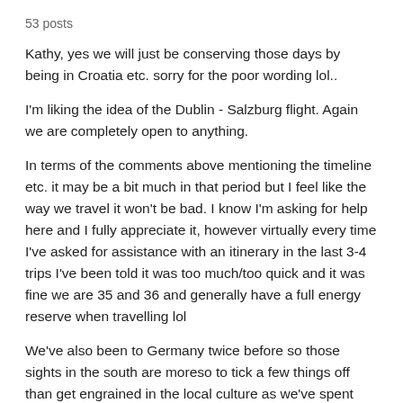53 posts
Kathy, yes we will just be conserving those days by being in Croatia etc. sorry for the poor wording lol..
I'm liking the idea of the Dublin - Salzburg flight. Again we are completely open to anything.
In terms of the comments above mentioning the timeline etc. it may be a bit much in that period but I feel like the way we travel it won't be bad. I know I'm asking for help here and I fully appreciate it, however virtually every time I've asked for assistance with an itinerary in the last 3-4 trips I've been told it was too much/too quick and it was fine we are 35 and 36 and generally have a full energy reserve when travelling lol
We've also been to Germany twice before so those sights in the south are moreso to tick a few things off than get engrained in the local culture as we've spent some good time in Berlin and the north. We only stay in Hotels and Airbnbs. We've also been to Austria and Switzerland in the past but not extensively so again, I'm kind of feeling that Salzburg plan